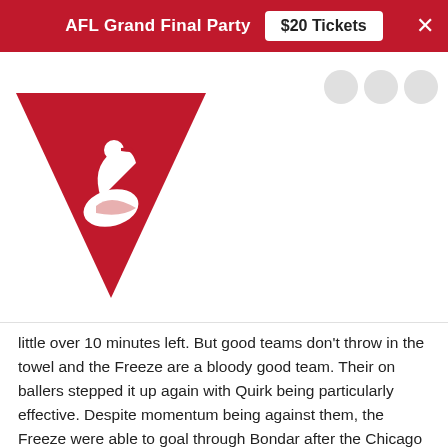AFL Grand Final Party   $20 Tickets   ×
[Figure (logo): Sydney Swans style logo: red triangle/chevron with white swan and four white stars above on a red background]
little over 10 minutes left. But good teams don't throw in the towel and the Freeze are a bloody good team. Their on ballers stepped it up again with Quirk being particularly effective. Despite momentum being against them, the Freeze were able to goal through Bondar after the Chicago defense over ran the ball and when McCuen goaled a minute later, it was Chicago's turn to sweat as their ball movement got sloppy and they started to run out of legs as the boys from the land of lakes sniffed an improbable but classic victory over the reigning MAAFL premiers. Both teams desperately threw everything they had at the ball and each other. When the Freeze took a mark 20 out dead in front whilst only 8 points down, it looked to get even tighter but mercifully for Chicago, umpire Biggs signalled the end of the game and the shot after the siren flew wide resulting in an historic 7 point win for